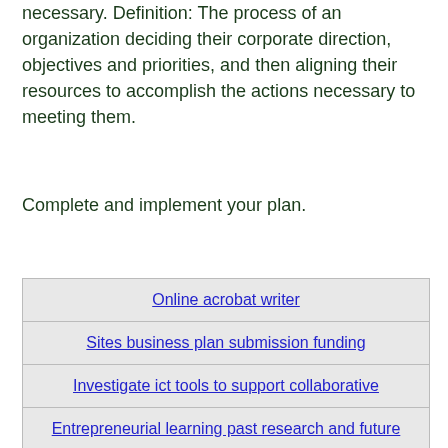necessary. Definition: The process of an organization deciding their corporate direction, objectives and priorities, and then aligning their resources to accomplish the actions necessary to meeting them.
Complete and implement your plan.
| Online acrobat writer |
| Sites business plan submission funding |
| Investigate ict tools to support collaborative |
| Entrepreneurial learning past research and future |
| Belonging essay peter skrzynecki essay |
| Reverse engineering of steering system with |
|  |